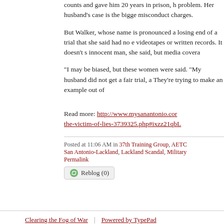counts and gave him 20 years in prison, h problem. Her husband's case is the bigge misconduct charges.
But Walker, whose name is pronounced a losing end of a trial that she said had no e videotapes or written records. It doesn't s innocent man, she said, but media covera
“I may be biased, but these women were said. “My husband did not get a fair trial, a They’re trying to make an example out of
Read more: http://www.mysanantonio.cor the-victim-of-lies-3739325.php#ixzz21qbL
Posted at 11:06 AM in 37th Training Group, AETC San Antonio-Lackland, Lackland Scandal, Military Permalink
Reblog (0)
Clearing the Fog of War | Powered by TypePad